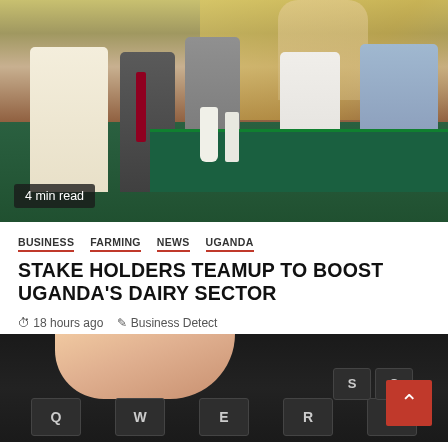[Figure (photo): People gathered around a table displaying dairy products including milk bottles and packaged goods. A man in a white outfit gestures while others in suits and casual wear look on. A green tablecloth covers the display table. Text overlay reads '4 min read'.]
4 min read
BUSINESS  FARMING  NEWS  UGANDA
STAKE HOLDERS TEAMUP TO BOOST UGANDA'S DAIRY SECTOR
18 hours ago   Business Detect
[Figure (photo): Close-up of a human thumb pressing a key on a dark laptop keyboard. Keys visible include Q, W, E, R, T, S, C.]